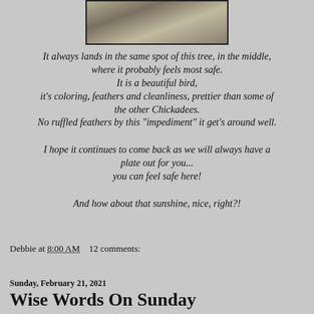[Figure (photo): Partial photo of a bird (chickadee) perched on branches, shown cropped at the top of the page]
It always lands in the same spot of this tree, in the middle, where it probably feels most safe. It is a beautiful bird, it's coloring, feathers and cleanliness, prettier than some of the other Chickadees. No ruffled feathers by this "impediment" it get's around well.
I hope it continues to come back as we will always have a plate out for you... you can feel safe here!
And how about that sunshine, nice, right?!
Debbie at 8:00 AM    12 comments:
Sunday, February 21, 2021
Wise Words On Sunday